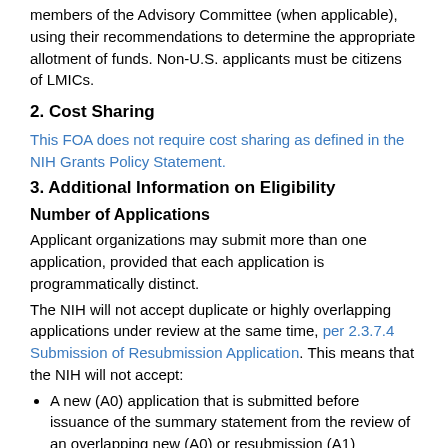members of the Advisory Committee (when applicable), using their recommendations to determine the appropriate allotment of funds. Non-U.S. applicants must be citizens of LMICs.
2. Cost Sharing
This FOA does not require cost sharing as defined in the NIH Grants Policy Statement.
3. Additional Information on Eligibility
Number of Applications
Applicant organizations may submit more than one application, provided that each application is programmatically distinct.
The NIH will not accept duplicate or highly overlapping applications under review at the same time, per 2.3.7.4 Submission of Resubmission Application. This means that the NIH will not accept:
A new (A0) application that is submitted before issuance of the summary statement from the review of an overlapping new (A0) or resubmission (A1) application.
A resubmission (A1) application that is submitted before issuance of the summary statement from the review of the previous new (A0) application.
An application that has substantial overlap with another